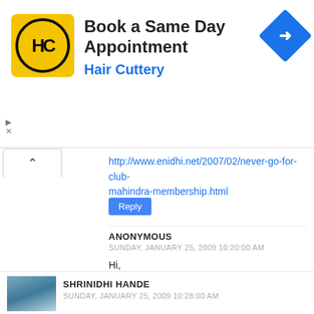[Figure (infographic): Advertisement banner for Hair Cuttery - Book a Same Day Appointment, with yellow HC logo and blue diamond arrow icon]
http://www.enidhi.net/2007/02/never-go-for-club-mahindra-membership.html
Reply
ANONYMOUS
SUNDAY, JANUARY 25, 2009 10:20:00 AM
Hi,
This is Ajay-From Bangalore. I had posted for selling the Club Mahindra membership. But Even after 10 hours unable to see the listing. Please verify. Thanks
Reply
SHRINIDHI HANDE
SUNDAY, JANUARY 25, 2009 10:28:00 AM